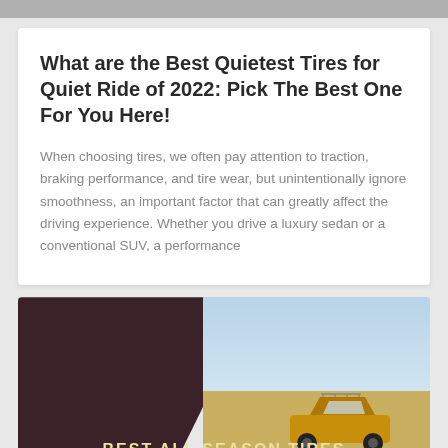What are the Best Quietest Tires for Quiet Ride of 2022: Pick The Best One For You Here!
When choosing tires, we often pay attention to traction, braking performance, and tire wear, but unintentionally ignore smoothness, an important factor that can greatly affect the driving experience. Whether you drive a luxury sedan or a conventional SUV, a performance
[Figure (photo): An SUV driving on an open road with desert landscape, split background of dark maroon on left and sky/landscape on right. Text overlay reads BEST ALL SEASON TIRES in gold/yellow letters.]